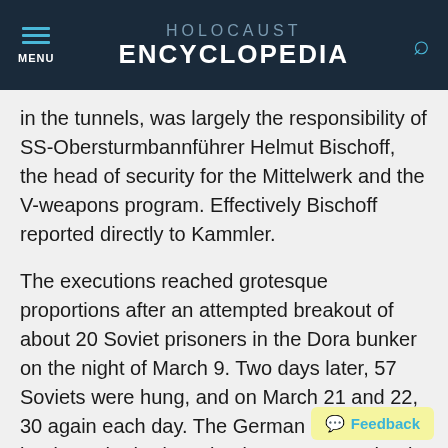HOLOCAUST ENCYCLOPEDIA
in the tunnels, was largely the responsibility of SS-Obersturmbannführer Helmut Bischoff, the head of security for the Mittelwerk and the V-weapons program. Effectively Bischoff reported directly to Kammler.
The executions reached grotesque proportions after an attempted breakout of about 20 Soviet prisoners in the Dora bunker on the night of March 9. Two days later, 57 Soviets were hung, and on March 21 and 22, 30 again each day. The German Communist leaders who had survived torture were shot in the last days of the camp.